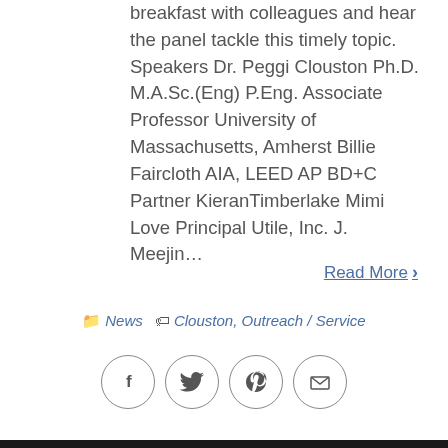breakfast with colleagues and hear the panel tackle this timely topic. Speakers Dr. Peggi Clouston Ph.D. M.A.Sc.(Eng) P.Eng. Associate Professor University of Massachusetts, Amherst Billie Faircloth AIA, LEED AP BD+C Partner KieranTimberlake Mimi Love Principal Utile, Inc. J. Meejin...
Read More >
News  Clouston, Outreach / Service
[Figure (infographic): Row of four social sharing icon circles: Facebook (f), Twitter (bird), Pinterest (P), Email (envelope)]